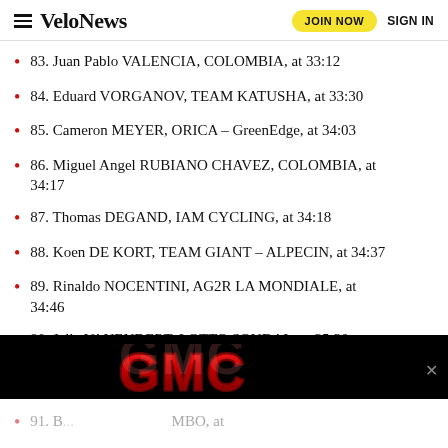VeloNews | JOIN NOW | SIGN IN
83. Juan Pablo VALENCIA, COLOMBIA, at 33:12
84. Eduard VORGANOV, TEAM KATUSHA, at 33:30
85. Cameron MEYER, ORICA – GreenEdge, at 34:03
86. Miguel Angel RUBIANO CHAVEZ, COLOMBIA, at 34:17
87. Thomas DEGAND, IAM CYCLING, at 34:18
88. Koen DE KORT, TEAM GIANT – ALPECIN, at 34:37
89. Rinaldo NOCENTINI, AG2R LA MONDIALE, at 34:46
90. Jelle VANENDERT, LOTTO SOUDAL, at 35:30
[Figure (logo): GMC advertisement banner with red GMC logo on black background]
91. B... JUMBO, at ...